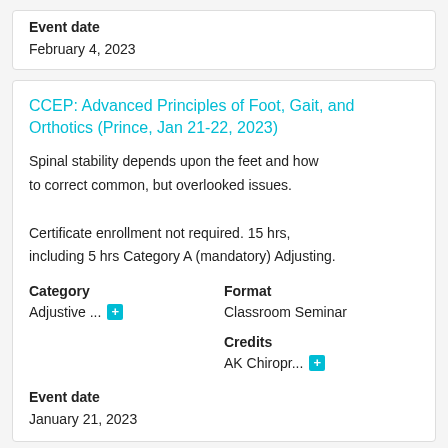Event date
February 4, 2023
CCEP: Advanced Principles of Foot, Gait, and Orthotics (Prince, Jan 21-22, 2023)
Spinal stability depends upon the feet and how to correct common, but overlooked issues. Certificate enrollment not required. 15 hrs, including 5 hrs Category A (mandatory) Adjusting.
Category
Adjustive ...
Format
Classroom Seminar
Credits
AK Chiropr...
Event date
January 21, 2023